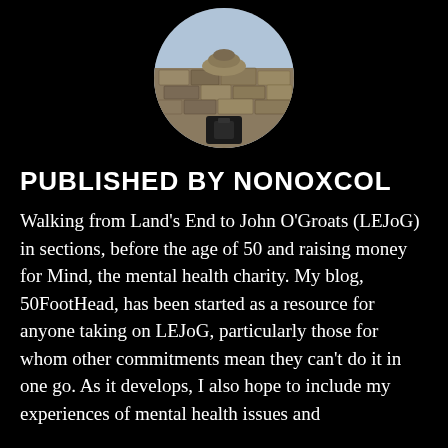[Figure (photo): Circular profile photo showing stone wall or rocky cairn with a dark bag/backpack at the base, outdoors.]
PUBLISHED BY NONOXCOL
Walking from Land's End to John O'Groats (LEJoG) in sections, before the age of 50 and raising money for Mind, the mental health charity. My blog, 50FootHead, has been started as a resource for anyone taking on LEJoG, particularly those for whom other commitments mean they can't do it in one go. As it develops, I also hope to include my experiences of mental health issues and